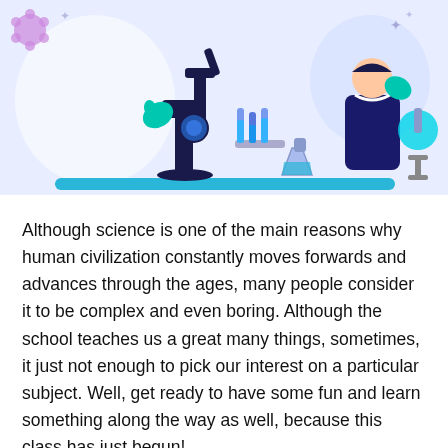[Figure (illustration): Science laboratory illustration showing a microscope, test tubes in a rack, a flask, a scientist figure in blue lab coat, and laboratory equipment on a blue surface with light purple/blue background.]
Although science is one of the main reasons why human civilization constantly moves forwards and advances through the ages, many people consider it to be complex and even boring. Although the school teaches us a great many things, sometimes, it just not enough to pick our interest on a particular subject. Well, get ready to have some fun and learn something along the way as well, because this class has just begun!
[Figure (photo): Bottom portion of an image showing bold text 'YEAH' in black with white outline against a warm brown/golden background, partially cut off at bottom of page.]